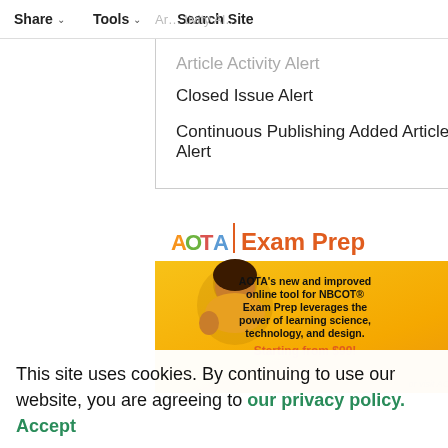Share | Tools | Search Site
Closed Issue Alert
Continuous Publishing Added Articles Alert
[Figure (illustration): AOTA Exam Prep advertisement banner with yellow/orange background, person in yellow sweater, text reading: AOTA's new and improved online tool for NBCOT® Exam Prep leverages the power of learning science, technology, and design. Starting from $99! or visit AOTA.org/exam-prep]
This site uses cookies. By continuing to use our website, you are agreeing to our privacy policy. Accept